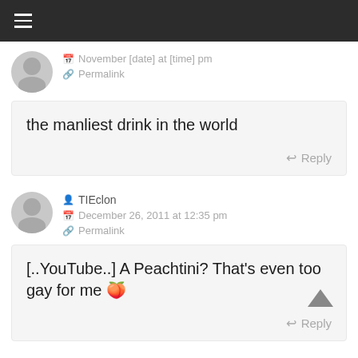☰ (navigation menu)
November [date] at [time] pm
Permalink
the manliest drink in the world
Reply
TIEclon
December 26, 2011 at 12:35 pm
Permalink
[..YouTube..] A Peachtini? That's even too gay for me 🍑
Reply